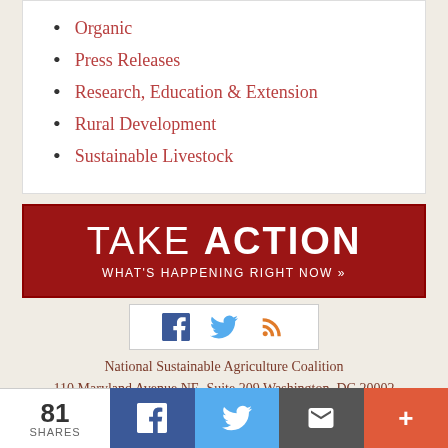Organic
Press Releases
Research, Education & Extension
Rural Development
Sustainable Livestock
[Figure (infographic): Red banner reading TAKE ACTION with subtitle WHAT'S HAPPENING RIGHT NOW »]
[Figure (infographic): Social media icons: Facebook (blue f), Twitter (blue bird), RSS (orange icon)]
National Sustainable Agriculture Coalition
110 Maryland Avenue NE, Suite 209 Washington, DC 20002
Contact Us
*IMPORTANT UPDATE: NSAC is currently...
81 SHARES